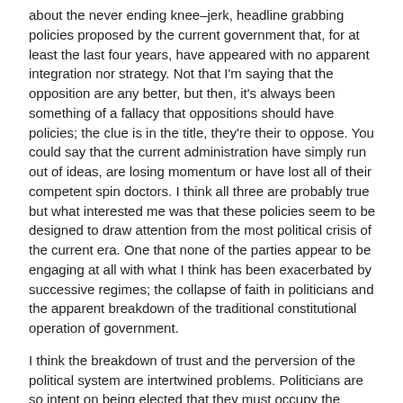about the never ending knee–jerk, headline grabbing policies proposed by the current government that, for at least the last four years, have appeared with no apparent integration nor strategy. Not that I'm saying that the opposition are any better, but then, it's always been something of a fallacy that oppositions should have policies; the clue is in the title, they're their to oppose. You could say that the current administration have simply run out of ideas, are losing momentum or have lost all of their competent spin doctors. I think all three are probably true but what interested me was that these policies seem to be designed to draw attention from the most political crisis of the current era. One that none of the parties appear to be engaging at all with what I think has been exacerbated by successive regimes; the collapse of faith in politicians and the apparent breakdown of the traditional constitutional operation of government.
I think the breakdown of trust and the perversion of the political system are intertwined problems. Politicians are so intent on being elected that they must occupy the middle ground therefore ideology goes out of the window. Saying what you know you must say and not what you believe is lying, which with the addition of spin, press intrusion into private lives and the village mentality of Westminster leads to endemic lying. I agree that this is a simplification but this is a blog not an essay. My point is that in trying to control the message the parties have had to centralise as much power into the hands of the executive as possible. Initially, this simply meant a more robust whip system and the appointment of central candidates with little real world experience but lots of party kudos. Once this had been accomplished (New Labour being the flag